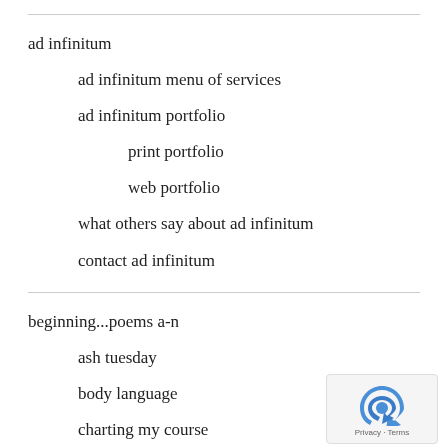ad infinitum
ad infinitum menu of services
ad infinitum portfolio
print portfolio
web portfolio
what others say about ad infinitum
contact ad infinitum
beginning...poems a-n
ash tuesday
body language
charting my course
circular breathing
coda
the dancer